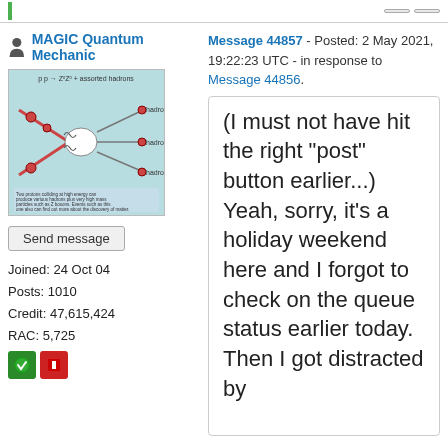MAGIC Quantum Mechanic
Message 44857 - Posted: 2 May 2021, 19:22:23 UTC - in response to Message 44856.
[Figure (illustration): Physics diagram showing proton-proton collision producing hadrons with quark-gluon lines]
Send message
Joined: 24 Oct 04
Posts: 1010
Credit: 47,615,424
RAC: 5,725
(I must not have hit the right "post" button earlier...)
Yeah, sorry, it's a holiday weekend here and I forgot to check on the queue status earlier today. Then I got distracted by